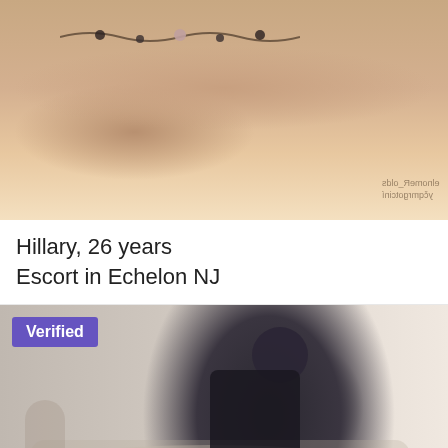[Figure (photo): Woman lying on bed wearing only a jeweled necklace, photographed from behind/side, watermark text visible in bottom right corner]
Hillary, 26 years
Escort in Echelon NJ
[Figure (photo): Woman in black dress reclining on an ornate chaise lounge, dark hair, 'Verified' badge in top left corner]